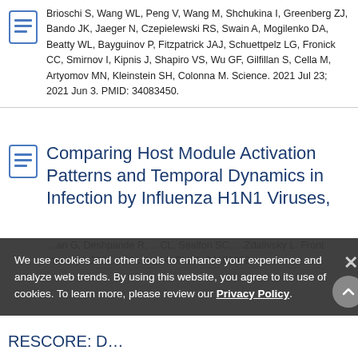Brioschi S, Wang WL, Peng V, Wang M, Shchukina I, Greenberg ZJ, Bando JK, Jaeger N, Czepielewski RS, Swain A, Mogilenko DA, Beatty WL, Bayguinov P, Fitzpatrick JAJ, Schuettpelz LG, Fronick CC, Smirnov I, Kipnis J, Shapiro VS, Wu GF, Gilfillan S, Cella M, Artyomov MN, Kleinstein SH, Colonna M. Science. 2021 Jul 23; 2021 Jun 3. PMID: 34083450.
Comparing Host Module Activation Patterns and Temporal Dynamics in Infection by Influenza H1N1 Viruses,
We use cookies and other tools to enhance your experience and analyze web trends. By using this website, you agree to its use of cookies. To learn more, please review our Privacy Policy.
RESCORE: D…